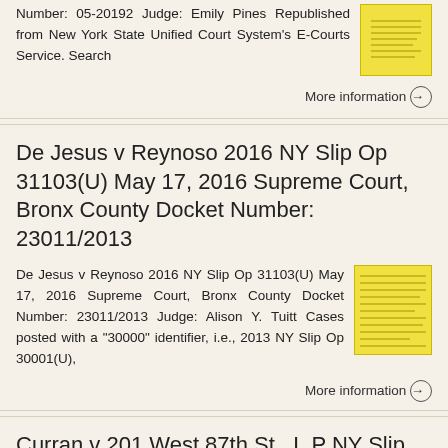Number: 05-20192 Judge: Emily Pines Republished from New York State Unified Court System's E-Courts Service. Search
More information →
De Jesus v Reynoso 2016 NY Slip Op 31103(U) May 17, 2016 Supreme Court, Bronx County Docket Number: 23011/2013
De Jesus v Reynoso 2016 NY Slip Op 31103(U) May 17, 2016 Supreme Court, Bronx County Docket Number: 23011/2013 Judge: Alison Y. Tuitt Cases posted with a "30000" identifier, i.e., 2013 NY Slip Op 30001(U),
More information →
Curran v 201 West 87th St., L.P NY Slip Op 33145(U) September 26, 2014 Supreme